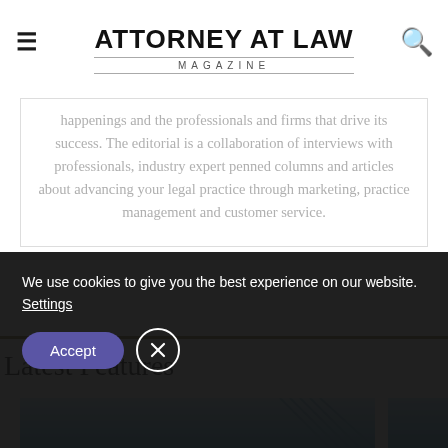ATTORNEY AT LAW MAGAZINE
happenings and the professionals and firms that drive its success. The editorial is a collaboration of interviews with professionals, industry expert penned columns and articles about advancing your legal practice through marketing, practice management and customer service.
Latest Features
[Figure (photo): Blue sky and building photo strip for Latest Features section]
We use cookies to give you the best experience on our website.
Settings
Accept